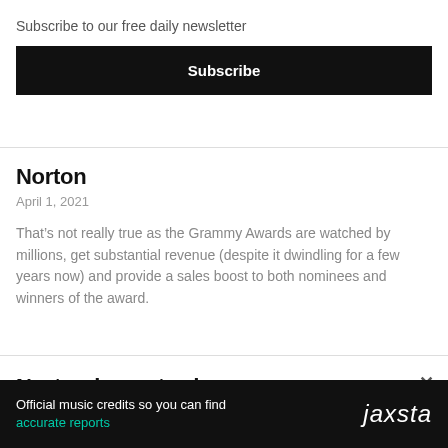Subscribe to our free daily newsletter
Subscribe
Norton
April 1, 2021
That’s not really true as the Grammy Awards are watched by millions, get substantial revenue (despite it dwindling for a few years now) and provide a sales boost to both nominees and winners of the award.
Norton is a retard
Official music credits so you can find accurate reports
jaxsta